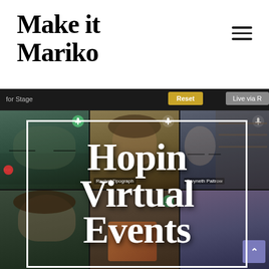Make it Mariko
[Figure (screenshot): Screenshot of a Hopin virtual events platform showing a video call grid with multiple participants. A toolbar at the top shows 'for Stage', 'Reset' and 'Live via R' buttons. Six video tiles show participants including Rachel Tipograph and Gwyneth Paltrow. An overlay white-bordered box shows the text 'Hopin Virtual Events' in large white serif font.]